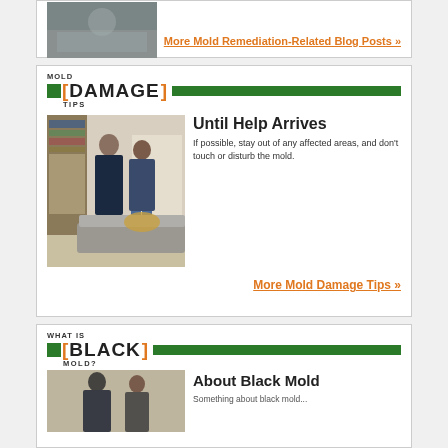[Figure (photo): Partial photo of mold/ceiling damage at top of page]
More Mold Remediation-Related Blog Posts »
MOLD [DAMAGE] TIPS
[Figure (photo): SERVPRO technician and homeowner in living room discussing mold damage]
Until Help Arrives
If possible, stay out of any affected areas, and don't touch or disturb the mold.
More Mold Damage Tips »
WHAT IS [BLACK] MOLD?
[Figure (photo): SERVPRO technician and homeowner, partial view at bottom of page]
About Black Mold